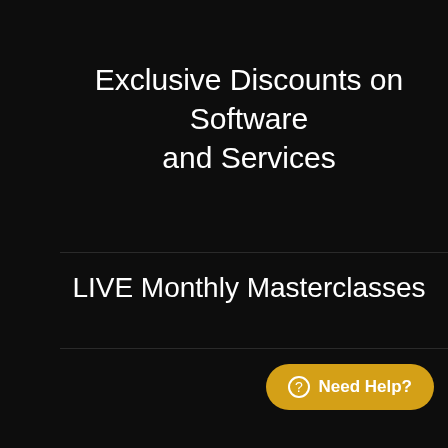Exclusive Discounts on Software and Services
LIVE Monthly Masterclasses
Need Help?